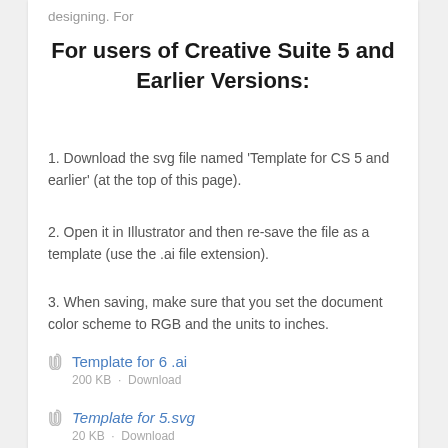designing. For
For users of Creative Suite 5 and Earlier Versions:
1. Download the svg file named 'Template for CS 5 and earlier' (at the top of this page).
2. Open it in Illustrator and then re-save the file as a template (use the .ai file extension).
3. When saving, make sure that you set the document color scheme to RGB and the units to inches.
Template for 6 .ai
200 KB · Download
Template for 5.svg
20 KB · Download